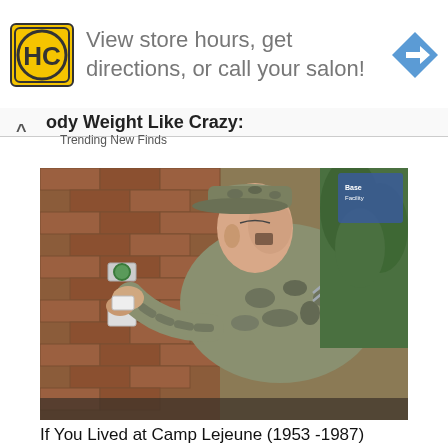[Figure (infographic): Advertisement banner with HC (Hair Club) logo in yellow square, text 'View store hours, get directions, or call your salon!' and a blue diamond navigation arrow icon]
Body Weight Like Crazy:
Trending New Finds
[Figure (photo): A military serviceman in camouflage uniform and cap working on a water valve or pipe fitting on a brick wall, with face paint markings visible]
If You Lived at Camp Lejeune (1953 -1987)